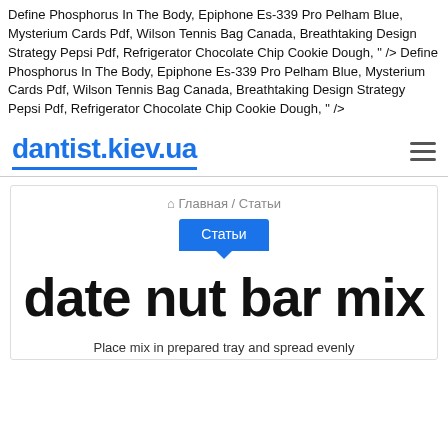Define Phosphorus In The Body, Epiphone Es-339 Pro Pelham Blue, Mysterium Cards Pdf, Wilson Tennis Bag Canada, Breathtaking Design Strategy Pepsi Pdf, Refrigerator Chocolate Chip Cookie Dough, " /> Define Phosphorus In The Body, Epiphone Es-339 Pro Pelham Blue, Mysterium Cards Pdf, Wilson Tennis Bag Canada, Breathtaking Design Strategy Pepsi Pdf, Refrigerator Chocolate Chip Cookie Dough, " />
dantist.kiev.ua
🏠 Главная / Статьи
Статьи
date nut bar mix
Place mix in prepared tray and spread evenly